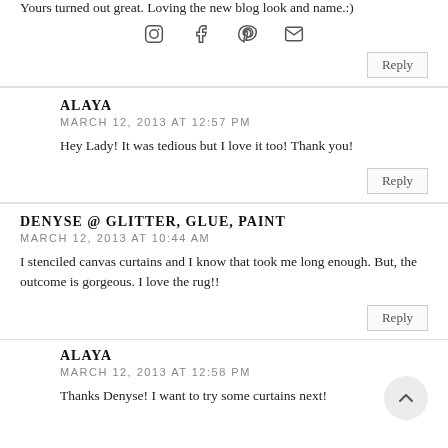Yours turned out great. Loving the new blog look and name.:)
[Figure (other): Social media icons: Instagram, Facebook, Pinterest, Email]
Reply
ALAYA
MARCH 12, 2013 AT 12:57 PM
Hey Lady! It was tedious but I love it too! Thank you!
Reply
DENYSE @ GLITTER, GLUE, PAINT
MARCH 12, 2013 AT 10:44 AM
I stenciled canvas curtains and I know that took me long enough. But, the outcome is gorgeous. I love the rug!!
Reply
ALAYA
MARCH 12, 2013 AT 12:58 PM
Thanks Denyse! I want to try some curtains next!